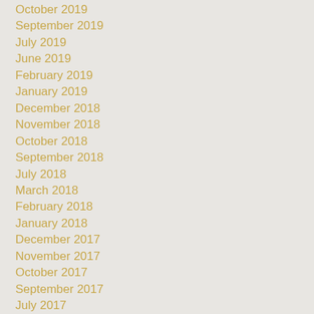October 2019
September 2019
July 2019
June 2019
February 2019
January 2019
December 2018
November 2018
October 2018
September 2018
July 2018
March 2018
February 2018
January 2018
December 2017
November 2017
October 2017
September 2017
July 2017